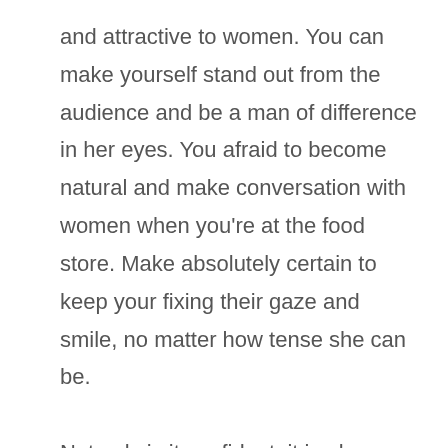and attractive to women. You can make yourself stand out from the audience and be a man of difference in her eyes. You afraid to become natural and make conversation with women when you're at the food store. Make absolutely certain to keep your fixing their gaze and smile, no matter how tense she can be.

Not only is it confident, it is also important to always be assertive. Women can sense if a man is normally nervous or shy. Be sure to